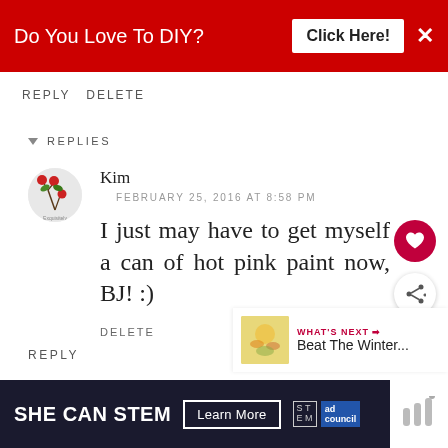[Figure (screenshot): Red ad banner at top reading 'Do You Love To DIY?' with a 'Click Here!' button and X close button]
REPLY DELETE
▾ REPLIES
[Figure (illustration): Small circular avatar with red flower/cherry branch illustration]
Kim
FEBRUARY 25, 2016 AT 8:58 PM
I just may have to get myself a can of hot pink paint now, BJ! :)
DELETE
REPLY
[Figure (screenshot): What's Next widget with floral image and text 'Beat The Winter...']
[Figure (screenshot): Bottom dark banner ad: SHE CAN STEM with Learn More button and STEM / Ad Council logos]